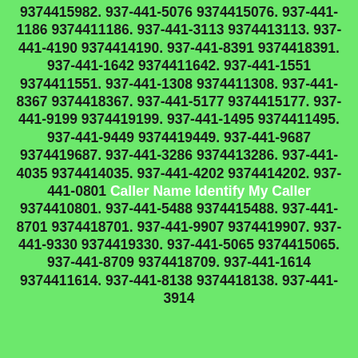9374415982. 937-441-5076 9374415076. 937-441-1186 9374411186. 937-441-3113 9374413113. 937-441-4190 9374414190. 937-441-8391 9374418391. 937-441-1642 9374411642. 937-441-1551 9374411551. 937-441-1308 9374411308. 937-441-8367 9374418367. 937-441-5177 9374415177. 937-441-9199 9374419199. 937-441-1495 9374411495. 937-441-9449 9374419449. 937-441-9687 9374419687. 937-441-3286 9374413286. 937-441-4035 9374414035. 937-441-4202 9374414202. 937-441-0801 Caller Name Identify My Caller 9374410801. 937-441-5488 9374415488. 937-441-8701 9374418701. 937-441-9907 9374419907. 937-441-9330 9374419330. 937-441-5065 9374415065. 937-441-8709 9374418709. 937-441-1614 9374411614. 937-441-8138 9374418138. 937-441-3914